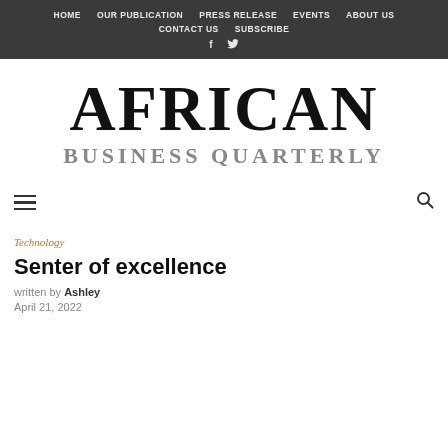HOME  OUR PUBLICATION  PRESS RELEASE  EVENTS  ABOUT US  CONTACT US  SUBSCRIBE  f  Twitter
AFRICAN BUSINESS QUARTERLY
Written by Ashley
April 21, 2022
Technology
Senter of excellence
written by Ashley
April 21, 2022